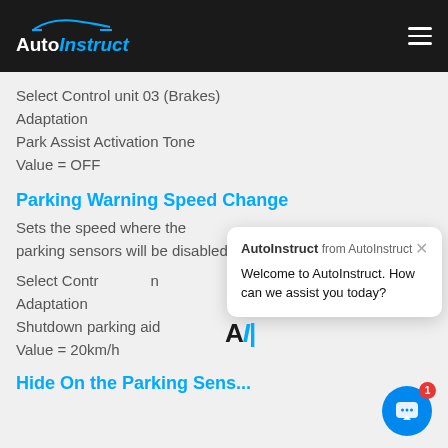AutoInstruct
Select Control unit 03 (Brakes)
Adaptation
Park Assist Activation Tone
Value = OFF
Parking Warning Speed Change
Sets the speed where the parking sensors will be disabled.
Select Control unit n
Adaptation
Shutdown parking aid
Value = 20km/h
[Figure (screenshot): Chat popup overlay from AutoInstruct chatbot: 'AutoInstruct from AutoInstruct — Welcome to AutoInstruct. How can we assist you today?' with a close X button, and an AI chat icon with notification badge showing 1.]
Hide On the Parking Sensors When Added